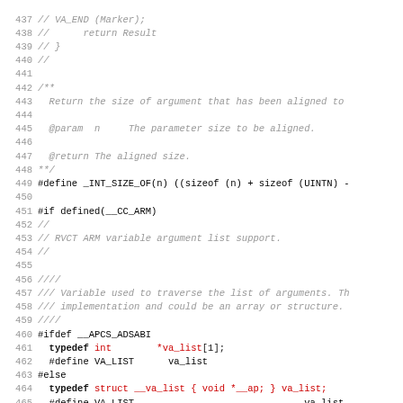Source code listing lines 437-468, C/C++ header file with variable argument list support definitions